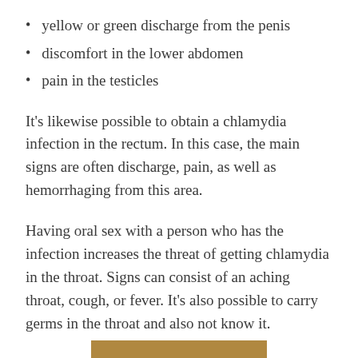yellow or green discharge from the penis
discomfort in the lower abdomen
pain in the testicles
It's likewise possible to obtain a chlamydia infection in the rectum. In this case, the main signs are often discharge, pain, as well as hemorrhaging from this area.
Having oral sex with a person who has the infection increases the threat of getting chlamydia in the throat. Signs can consist of an aching throat, cough, or fever. It's also possible to carry germs in the throat and also not know it.
[Figure (photo): Partial view of an image with a brown/tan colored background at the bottom of the page]